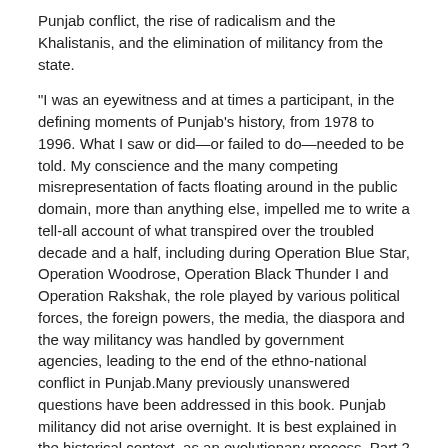Punjab conflict, the rise of radicalism and the Khalistanis, and the elimination of militancy from the state.
"I was an eyewitness and at times a participant, in the defining moments of Punjab's history, from 1978 to 1996. What I saw or did—or failed to do—needed to be told. My conscience and the many competing misrepresentation of facts floating around in the public domain, more than anything else, impelled me to write a tell-all account of what transpired over the troubled decade and a half, including during Operation Blue Star, Operation Woodrose, Operation Black Thunder I and Operation Rakshak, the role played by various political forces, the foreign powers, the media, the diaspora and the way militancy was handled by government agencies, leading to the end of the ethno-national conflict in Punjab.Many previously unanswered questions have been addressed in this book. Punjab militancy did not arise overnight. It is best explained in the historical context, as an evolutionary process. Part 2 of the book, subtitled 'Historical Perspective', is a deeply researched account of inter-community relationships from pre Independence days, how these evolved, and how the subsequent polarization triggered the emergence of Jarnail Singh Bhindranwale and the turmoil in Punjab," said Ramesh Inder Singh.